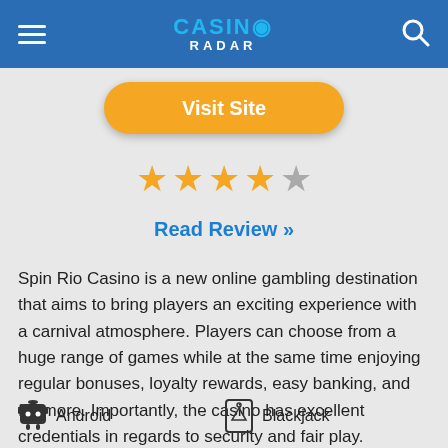Casino Radar
Visit Site
[Figure (other): 4 out of 5 star rating]
Read Review »
Spin Rio Casino is a new online gambling destination that aims to bring players an exciting experience with a carnival atmosphere. Players can choose from a huge range of games while at the same time enjoying regular bonuses, loyalty rewards, easy banking, and far more. Importantly, the casino has excellent credentials in regards to security and fair play.
Android
Blackjack